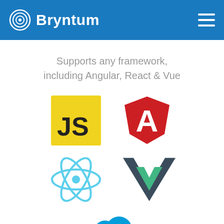Bryntum
Supports any framework, including Angular, React & Vue
[Figure (logo): JavaScript logo (yellow square with JS text), Angular logo (red shield with A), React logo (blue atom icon), Vue.js logo (green V shape), Salesforce logo (blue cloud with 'salesforce' text)]